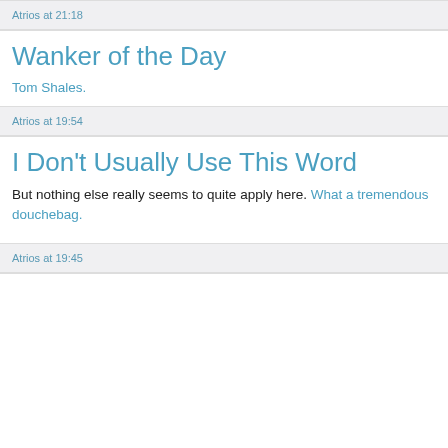Atrios at 21:18
Wanker of the Day
Tom Shales.
Atrios at 19:54
I Don't Usually Use This Word
But nothing else really seems to quite apply here. What a tremendous douchebag.
Atrios at 19:45